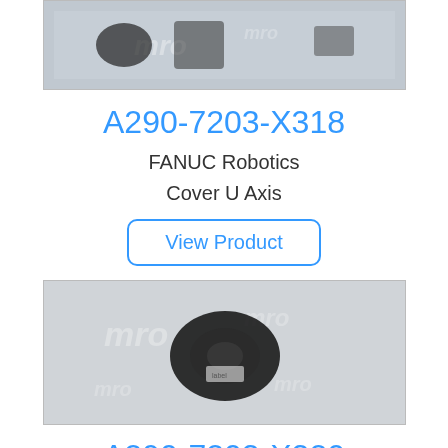[Figure (photo): Product photo showing FANUC robotics components on MRO branded background, partial top view]
A290-7203-X318
FANUC Robotics
Cover U Axis
View Product
[Figure (photo): Product photo showing a black cable/seal component in packaging on MRO branded background]
A290-7203-X320
FANUC Robotics